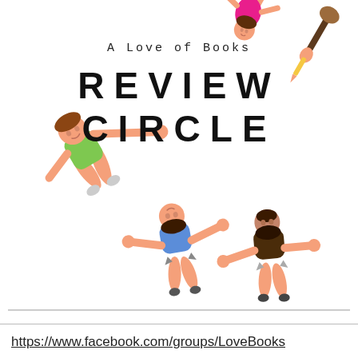[Figure (illustration): Cartoon illustration of children/people arranged in a circle formation against a white background, holding hands or reaching toward each other. Figures include a girl in pink at top, a boy in green on the left, and two figures at bottom center-right in blue and brown.]
A Love of Books
REVIEW CIRCLE
https://www.facebook.com/groups/LoveBooks